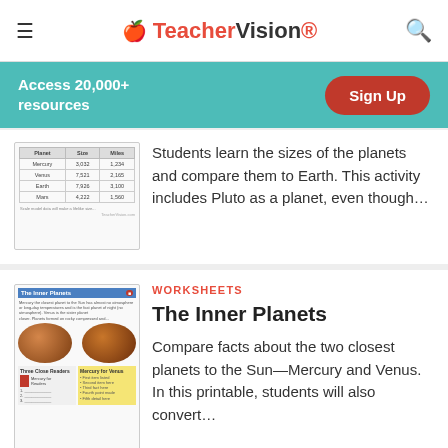TeacherVision
Access 20,000+ resources
Sign Up
[Figure (screenshot): Thumbnail of a worksheet showing a table comparing planet sizes]
Students learn the sizes of the planets and compare them to Earth. This activity includes Pluto as a planet, even though...
WORKSHEETS
The Inner Planets
[Figure (screenshot): Thumbnail of The Inner Planets worksheet showing planet diagrams and text sections]
Compare facts about the two closest planets to the Sun—Mercury and Venus. In this printable, students will also convert...